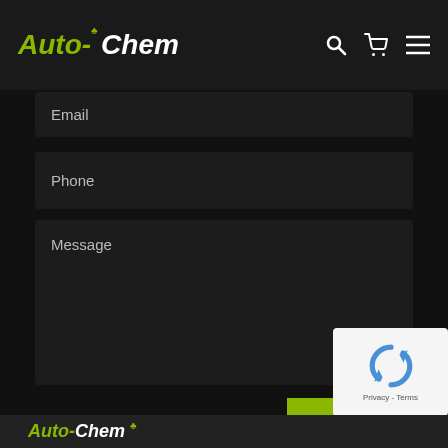Auto-Chem
Email
Phone
Message
SEND
[Figure (other): reCAPTCHA widget with circular arrow logo and Privacy - Terms text]
Auto-Chem